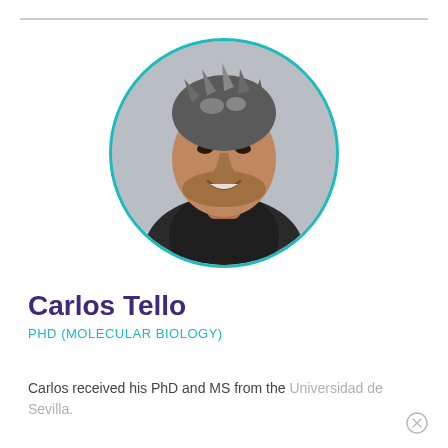[Figure (photo): Circular portrait photo of Carlos Tello, a man with short salt-and-pepper hair, smiling, wearing a dark turtleneck, inside a teal/cyan circular border]
Carlos Tello
PHD (MOLECULAR BIOLOGY)
Carlos received his PhD and MS from the Universidad de Sevilla.